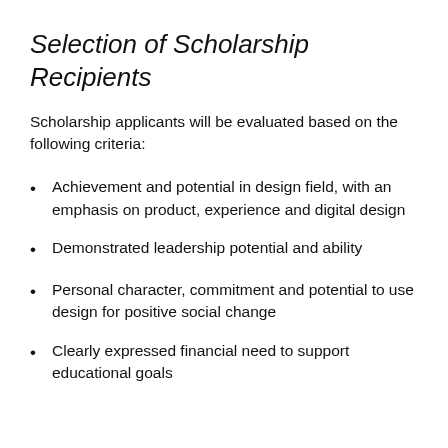Selection of Scholarship Recipients
Scholarship applicants will be evaluated based on the following criteria:
Achievement and potential in design field, with an emphasis on product, experience and digital design
Demonstrated leadership potential and ability
Personal character, commitment and potential to use design for positive social change
Clearly expressed financial need to support educational goals